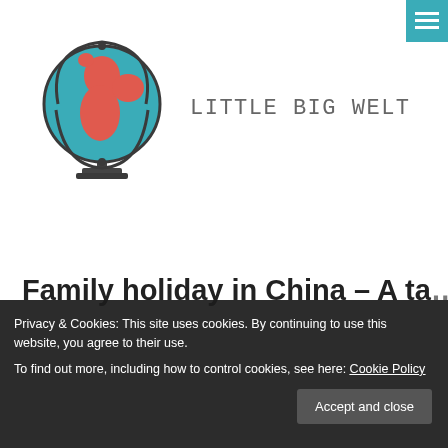[Figure (logo): Little Big Welt travel blog logo: a globe on a stand with teal ocean and red landmasses, with 'Little Big Welt' text in monospace font beside it]
Family holiday in China – A ta...
Privacy & Cookies: This site uses cookies. By continuing to use this website, you agree to their use.
To find out more, including how to control cookies, see here: Cookie Policy
Accept and close
China itinerary to our specific needs